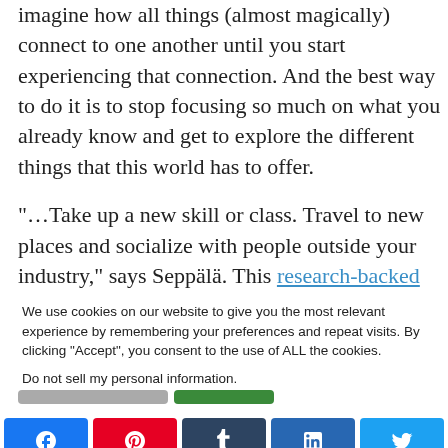imagine how all things (almost magically) connect to one another until you start experiencing that connection. And the best way to do it is to stop focusing so much on what you already know and get to explore the different things that this world has to offer.
“…Take up a new skill or class. Travel to new places and socialize with people outside your industry,” says Seppälä. This research-backed approach promises broader thinking and more innovative approaches to challenges.
We use cookies on our website to give you the most relevant experience by remembering your preferences and repeat visits. By clicking “Accept”, you consent to the use of ALL the cookies.
Do not sell my personal information.
[Figure (other): Social sharing buttons: Facebook, Pinterest, Tumblr, LinkedIn, Twitter]